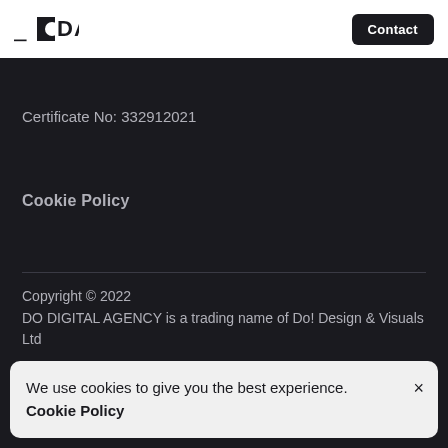DODA | Contact
Certificate No: 332912021
Cookie Policy
Copyright © 2022
DO DIGITAL AGENCY is a trading name of Do! Design & Visuals Ltd
We use cookies to give you the best experience. Cookie Policy